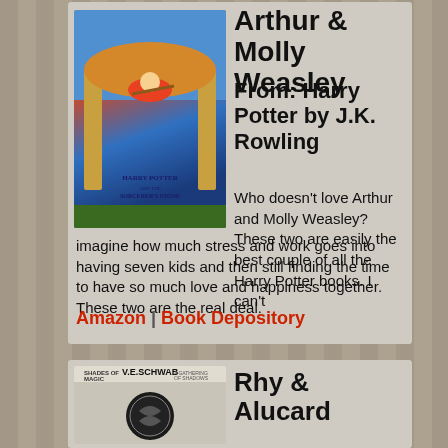[Figure (photo): Harry Potter and the Sorcerer's Stone book cover by J.K. Rowling — top portion of card 1]
Arthur & Molly Weasley
From: Harry Potter by J.K. Rowling
Who doesn't love Arthur and Molly Weasley? These two are easily the best couple of all the Harry Potter books. I can't imagine how much stress and work goes into having seven kids and then still finding the time to have so much love and happiness together. These two are the real deal.
Amazon | Book Depository
[Figure (photo): V.E. Schwab book cover — partially visible at bottom]
Rhy & Alucard